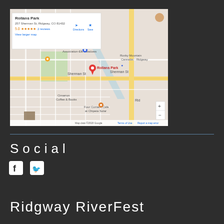[Figure (map): Google Maps screenshot showing Rollans Park at 257 Sherman St, Ridgway, CO 81432. Rated 5.0 with 2 reviews. Map shows the park location with a red pin, surrounding streets including Sherman St, and nearby places including Kate's Place, Homeowners Association-Elk Meadows, Rocky Mountain Cannabis-Ridgway, Cimarron Coffee & Books, and Four Corners Cafe at Chipeta Solar.]
Social
[Figure (infographic): Facebook and Twitter social media icons in white]
Ridgway RiverFest